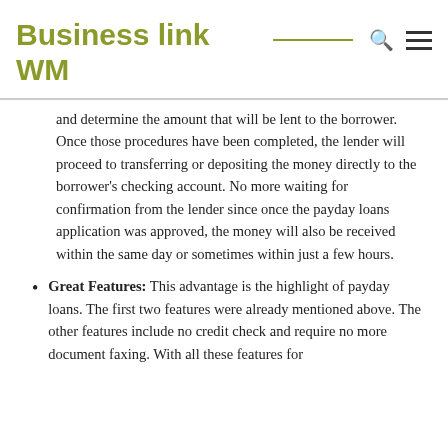Business link WM
and determine the amount that will be lent to the borrower. Once those procedures have been completed, the lender will proceed to transferring or depositing the money directly to the borrower's checking account. No more waiting for confirmation from the lender since once the payday loans application was approved, the money will also be received within the same day or sometimes within just a few hours.
Great Features: This advantage is the highlight of payday loans. The first two features were already mentioned above. The other features include no credit check and require no more document faxing. With all these features for